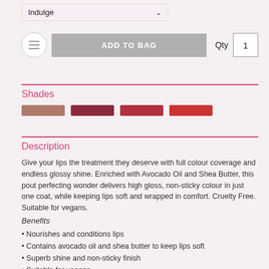Indulge
ADD TO BAG  Qty 1
Shades
[Figure (other): Four color swatches showing shades: mauve/nude, dark rose, medium red, bright red]
Description
Give your lips the treatment they deserve with full colour coverage and endless glossy shine. Enriched with Avocado Oil and Shea Butter, this pout perfecting wonder delivers high gloss, non-sticky colour in just one coat, while keeping lips soft and wrapped in comfort. Cruelty Free. Suitable for vegans.
Benefits
Nourishes and conditions lips
Contains avocado oil and shea butter to keep lips soft
Superb shine and non-sticky finish
Suitable for vegans